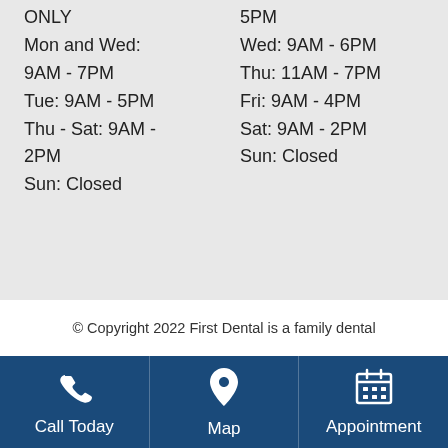ONLY
Mon and Wed: 9AM - 7PM
Tue: 9AM - 5PM
Thu - Sat: 9AM - 2PM
Sun: Closed
5PM
Wed: 9AM - 6PM
Thu: 11AM - 7PM
Fri: 9AM - 4PM
Sat: 9AM - 2PM
Sun: Closed
© Copyright 2022 First Dental is a family dental
Call Today
Map
Appointment